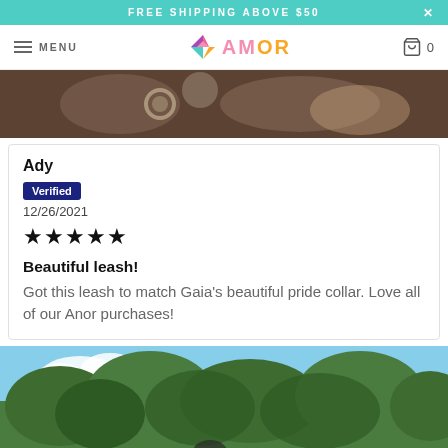FREE SHIPPING ABOVE $50
AMOR — Menu, Logo, Cart 0
[Figure (photo): Close-up product photo of a leash and dog, dark warm-toned background]
Ady
Verified
12/26/2021
★★★★★
Beautiful leash!
Got this leash to match Gaia's beautiful pride collar. Love all of our Anor purchases!
[Figure (photo): Outdoor photo showing green trees and blue sky with a dog in the foreground]